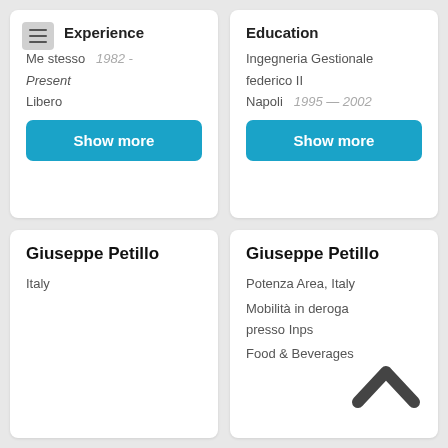Experience
Me stesso   1982 - Present
Libero
Show more
Education
Ingegneria Gestionale
federico II
Napoli   1995 — 2002
Show more
Giuseppe Petillo
Italy
Giuseppe Petillo
Potenza Area, Italy
Mobilità in deroga presso Inps
Food & Beverages